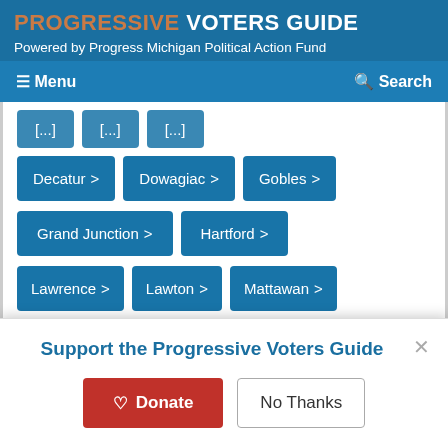PROGRESSIVE VOTERS GUIDE
Powered by Progress Michigan Political Action Fund
Menu   Search
Decatur
Dowagiac
Gobles
Grand Junction
Hartford
Lawrence
Lawton
Mattawan
Paw Paw
South Haven
Support the Progressive Voters Guide
Donate   No Thanks